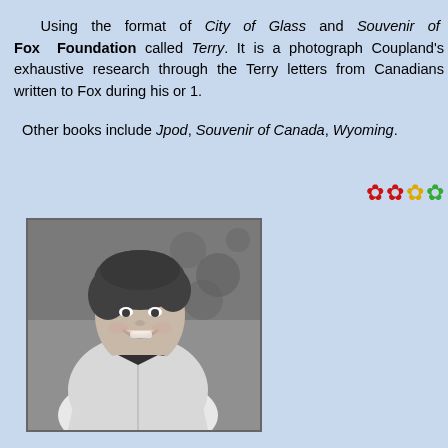Using the format of City of Glass and Souvenir of Canada, the Fox Foundation called Terry. It is a photograph... Coupland's exhaustive research through the Terry Fox Foundation archives and letters from Canadians written to Fox during his original Marathon of Hope in 1980 and 1.
Other books include Jpod, Souvenir of Canada, ... Wyoming.
[Figure (photo): Black and white portrait photograph of a smiling woman with short hair, wearing a light-colored jacket, photographed outdoors.]